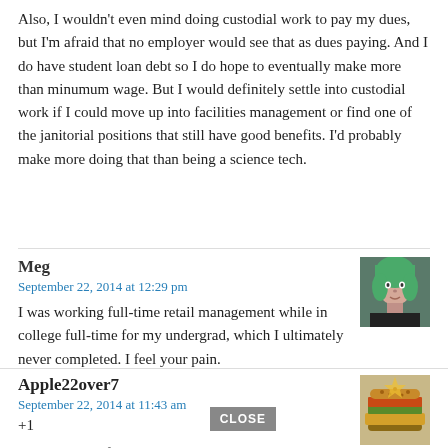Also, I wouldn't even mind doing custodial work to pay my dues, but I'm afraid that no employer would see that as dues paying. And I do have student loan debt so I do hope to eventually make more than minumum wage. But I would definitely settle into custodial work if I could move up into facilities management or find one of the janitorial positions that still have good benefits. I'd probably make more doing that than being a science tech.
Meg
September 22, 2014 at 12:29 pm
[Figure (photo): Avatar photo of Meg, a person with green hair]
I was working full-time retail management while in college full-time for my undergrad, which I ultimately never completed. I feel your pain.
Apple22over7
September 22, 2014 at 11:43 am
[Figure (illustration): Avatar image for Apple22over7, showing a food/burger graphic]
CLOSE
+1
I also hate the fact that so many millennials were sold the